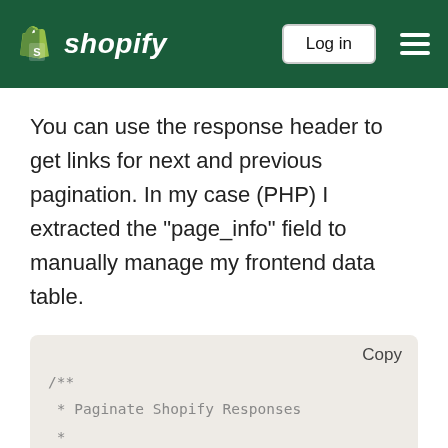Shopify — Log in
You can use the response header to get links for next and previous pagination. In my case (PHP) I extracted the "page_info" field to manually manage my frontend data table.
[Figure (screenshot): Code block showing PHP comment documentation with lines: /**, * Paginate Shopify Responses, *, * array, * array, *, *, * array]